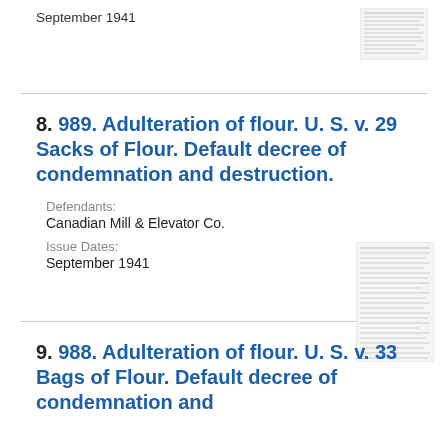September 1941
[Figure (other): Thumbnail image of a legal document page (top of page)]
8. 989. Adulteration of flour. U. S. v. 29 Sacks of Flour. Default decree of condemnation and destruction.
Defendants:
Canadian Mill & Elevator Co.
Issue Dates:
September 1941
[Figure (other): Thumbnail image of a legal document page (entry 8)]
9. 988. Adulteration of flour. U. S. v. 33 Bags of Flour. Default decree of condemnation and